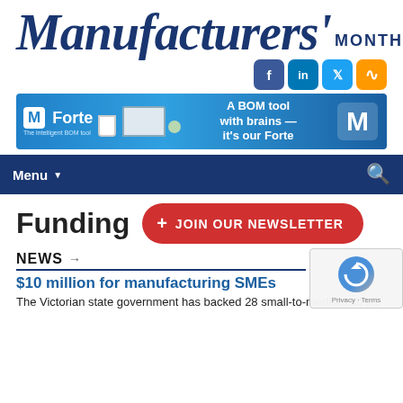Manufacturers' MONTHLY
[Figure (screenshot): Advertisement banner for M Forte BOM tool with text 'A BOM tool with brains — it's our Forte']
Funding
+ JOIN OUR NEWSLETTER
NEWS →
$10 million for manufacturing SMEs
The Victorian state government has backed 28 small-to-medium sized